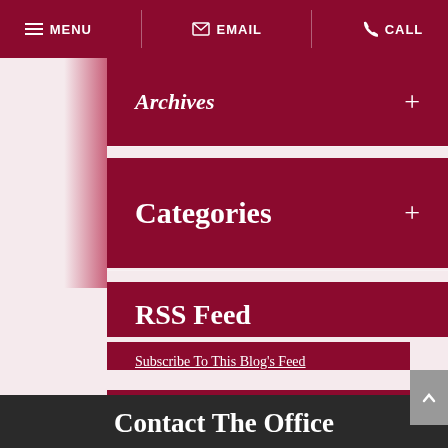MENU  EMAIL  CALL
Archives +
Categories +
RSS Feed
Subscribe To This Blog's Feed
Contact The Office